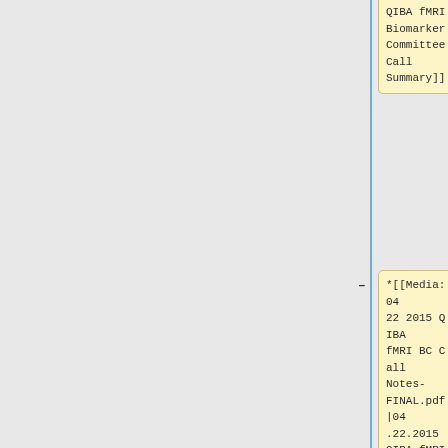QIBA fMRI Biomarker Committee Call Summary]]
*[[Media:04 22 2015 QIBA fMRI BC Call Notes-FINAL.pdf|04.22.2015 QIBA fMRI Biomarker Committee Call Summary]]
*[[Media:04 08 2015 QIBA fMRI BC Call Notes-